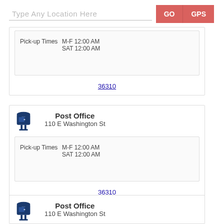Type Any Location Here
GO
GPS
Pick-up Times   M-F 12:00 AM   SAT 12:00 AM
36310
Post Office
110 E Washington St
Pick-up Times   M-F 12:00 AM   SAT 12:00 AM
36310
Post Office
110 E Washington St